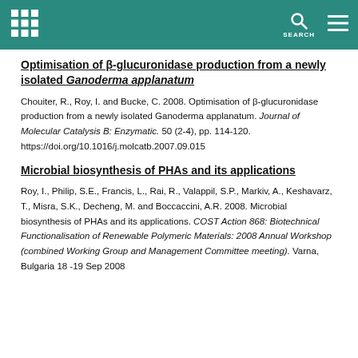Optimisation of β-glucuronidase production from a newly isolated Ganoderma applanatum
Chouiter, R., Roy, I. and Bucke, C. 2008. Optimisation of β-glucuronidase production from a newly isolated Ganoderma applanatum. Journal of Molecular Catalysis B: Enzymatic. 50 (2-4), pp. 114-120. https://doi.org/10.1016/j.molcatb.2007.09.015
Microbial biosynthesis of PHAs and its applications
Roy, I., Philip, S.E., Francis, L., Rai, R., Valappil, S.P., Markiv, A., Keshavarz, T., Misra, S.K., Decheng, M. and Boccaccini, A.R. 2008. Microbial biosynthesis of PHAs and its applications. COST Action 868: Biotechnical Functionalisation of Renewable Polymeric Materials: 2008 Annual Workshop (combined Working Group and Management Committee meeting). Varna, Bulgaria 18 -19 Sep 2008